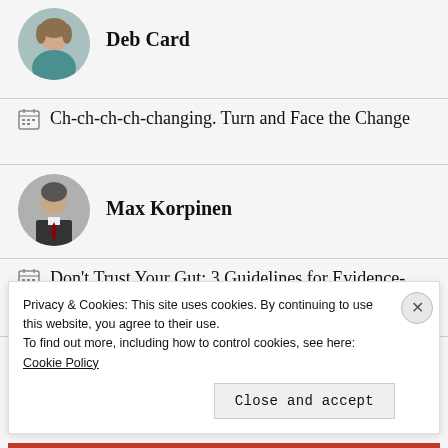[Figure (photo): Circular avatar photo of Deb Card, a woman]
Deb Card
Ch-ch-ch-ch-changing. Turn and Face the Change
[Figure (photo): Circular avatar photo of Max Korpinen, a man in a suit]
Max Korpinen
Don't Trust Your Gut: 3 Guidelines for Evidence-Based Recruiting
[Figure (photo): Circular avatar photo of Sara McGuire, a woman]
Sara McGuire
Privacy & Cookies: This site uses cookies. By continuing to use this website, you agree to their use.
To find out more, including how to control cookies, see here: Cookie Policy